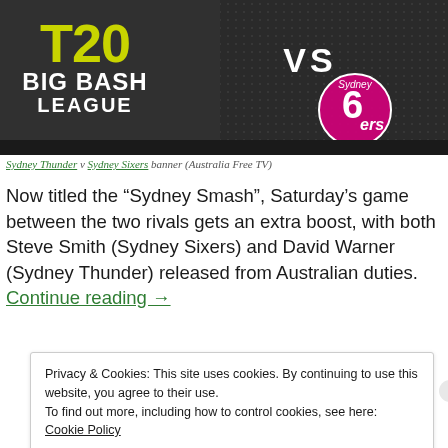[Figure (photo): T20 Big Bash League banner showing Sydney Thunder vs Sydney Sixers logos on dark background with 'VS' text]
Sydney Thunder v Sydney Sixers banner (Australia Free TV)
Now titled the “Sydney Smash”, Saturday’s game between the two rivals gets an extra boost, with both Steve Smith (Sydney Sixers) and David Warner (Sydney Thunder) released from Australian duties. Continue reading →
Privacy & Cookies: This site uses cookies. By continuing to use this website, you agree to their use.
To find out more, including how to control cookies, see here: Cookie Policy
Close and accept